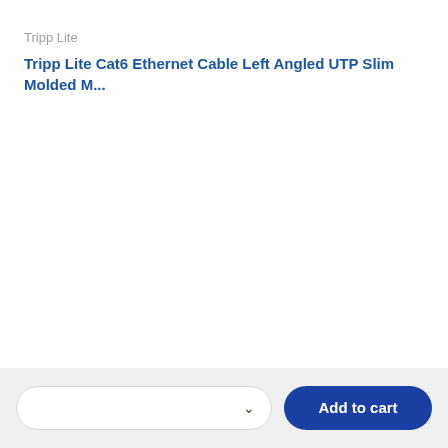Tripp Lite
Tripp Lite Cat6 Ethernet Cable Left Angled UTP Slim Molded M...
Add to cart